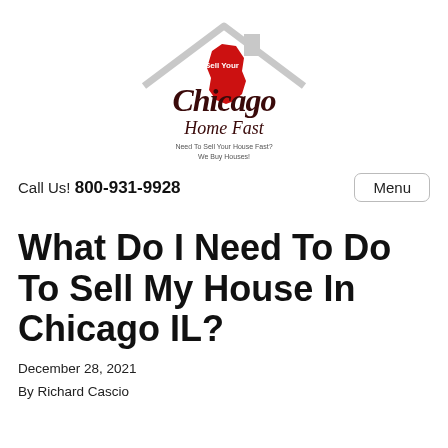[Figure (logo): Sell Your Chicago Home Fast logo with roof/house silhouette in gray, Illinois state shape in red, and stylized script text 'Chicago Home Fast' with tagline 'Need To Sell Your House Fast? We Buy Houses!']
Call Us! 800-931-9928
Menu
What Do I Need To Do To Sell My House In Chicago IL?
December 28, 2021
By Richard Cascio